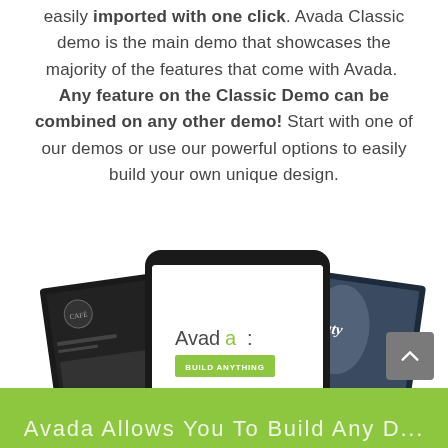easily imported with one click. Avada Classic demo is the main demo that showcases the majority of the features that come with Avada. Any feature on the Classic Demo can be combined on any other demo! Start with one of our demos or use our powerful options to easily build your own unique design.
[Figure (screenshot): A tablet held by two hands displaying the Avada theme website with 'Avada : BUILD ANYTHING' on screen, flanked by two other website screenshots - a dark cafe theme on the left and a Glamour Beauty fashion theme on the right.]
Avada Allows You To Build Any D...